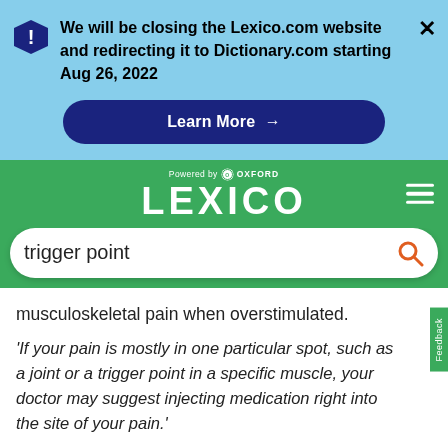We will be closing the Lexico.com website and redirecting it to Dictionary.com starting Aug 26, 2022
[Figure (screenshot): Learn More button with arrow on dark navy background]
[Figure (logo): Lexico powered by Oxford logo on green background with hamburger menu]
trigger point
musculoskeletal pain when overstimulated.
'If your pain is mostly in one particular spot, such as a joint or a trigger point in a specific muscle, your doctor may suggest injecting medication right into the site of your pain.'